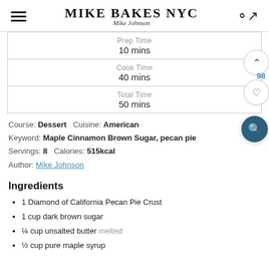MIKE BAKES NYC — Mike Johnson
Prep Time
10 mins
Cook Time
40 mins
Total Time
50 mins
Course: Dessert   Cuisine: American
Keyword: Maple Cinnamon Brown Sugar, pecan pie
Servings: 8   Calories: 515kcal
Author: Mike Johnson
Ingredients
1 Diamond of California Pecan Pie Crust
1 cup dark brown sugar
¼ cup unsalted butter melted
½ cup pure maple syrup